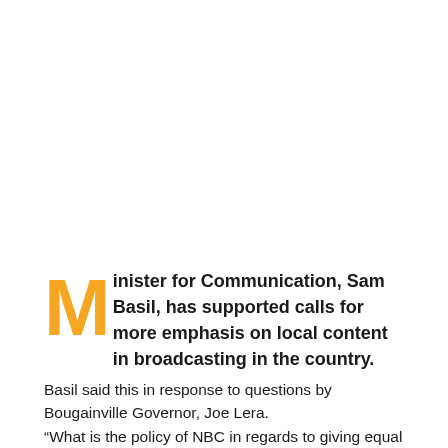Minister for Communication, Sam Basil, has supported calls for more emphasis on local content in broadcasting in the country.
Basil said this in response to questions by Bougainville Governor, Joe Lera.
“What is the policy of NBC in regards to giving equal airtime to